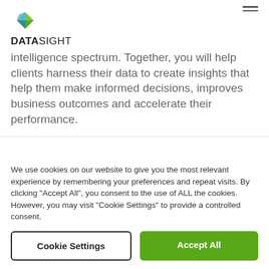DATASIGHT
intelligence spectrum. Together, you will help clients harness their data to create insights that help them make informed decisions, improves business outcomes and accelerate their performance.
We use cookies on our website to give you the most relevant experience by remembering your preferences and repeat visits. By clicking "Accept All", you consent to the use of ALL the cookies. However, you may visit "Cookie Settings" to provide a controlled consent.